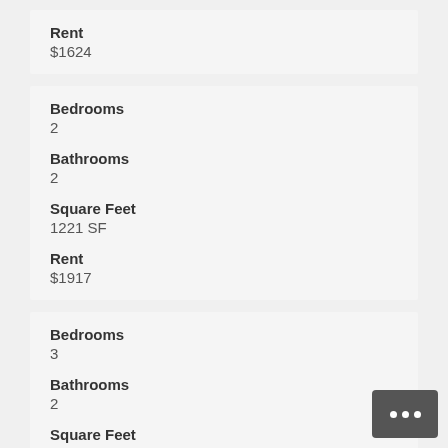Rent
$1624
Bedrooms
2
Bathrooms
2
Square Feet
1221 SF
Rent
$1917
Bedrooms
3
Bathrooms
2
Square Feet